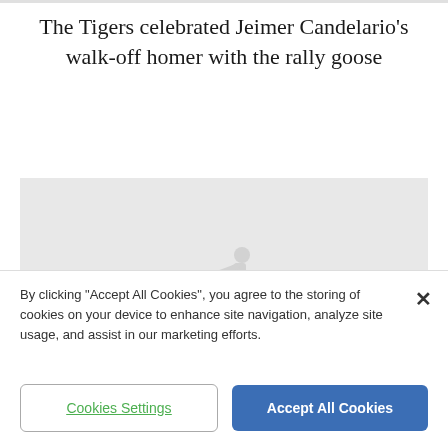The Tigers celebrated Jeimer Candelario's walk-off homer with the rally goose
[Figure (photo): MLB media placeholder image with MLB logo watermark on a light gray background]
By clicking "Accept All Cookies", you agree to the storing of cookies on your device to enhance site navigation, analyze site usage, and assist in our marketing efforts.
Cookies Settings
Accept All Cookies